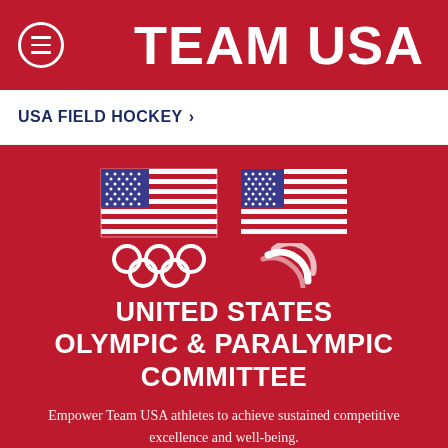TEAM USA
USA FIELD HOCKEY >
[Figure (logo): United States Olympic & Paralympic Committee logo with two US flags above Olympic rings and Paralympic symbol]
UNITED STATES OLYMPIC & PARALYMPIC COMMITTEE
Empower Team USA athletes to achieve sustained competitive excellence and well-being.